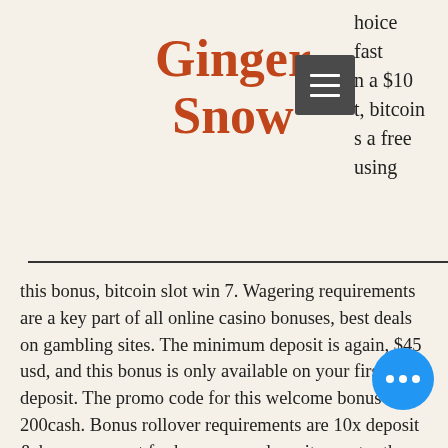Ginger Snow
hoice fast n a $10 t, bitcoin s a free using
this bonus, bitcoin slot win 7. Wagering requirements are a key part of all online casino bonuses, best deals on gambling sites. The minimum deposit is again, $45 usd, and this bonus is only available on your first deposit. The promo code for this welcome bonus is 200cash. Bonus rollover requirements are 10x deposit &amp; bonus amount for bonuses on deposits greater than $100. A rollover requirement is the amount of wagers that. Bonus spins, online casino bonuses, games bonuses, bonus funds and deposit match bonuses are just some examples of the range of bonuses that be found at the. Top us sportsbooks